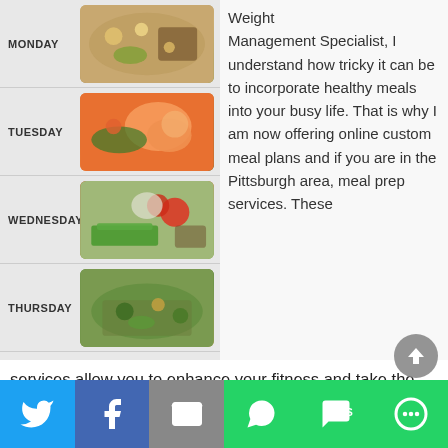[Figure (infographic): Weekly meal prep containers showing Monday through Thursday, each labeled with the day name and containing colorful prepared meals in glass containers. Monday shows grain and vegetable mix, Tuesday shows shrimp and vegetables, Wednesday shows asparagus, tomatoes and cauliflower with grains, Thursday shows a grain and vegetable salad.]
Weight Management Specialist, I understand how tricky it can be to incorporate healthy meals into your busy life. That is why I am now offering online custom meal plans and if you are in the Pittsburgh area, meal prep services. These services allow you to enhance your fitness and take the guesswork out of eating! I will take into account your personal goals and food preferences when creating your
[Figure (infographic): Social media sharing bar at the bottom with buttons for Twitter (blue), Facebook (dark blue), Email (grey), WhatsApp (green), SMS (green), and More options (green with camera icon).]